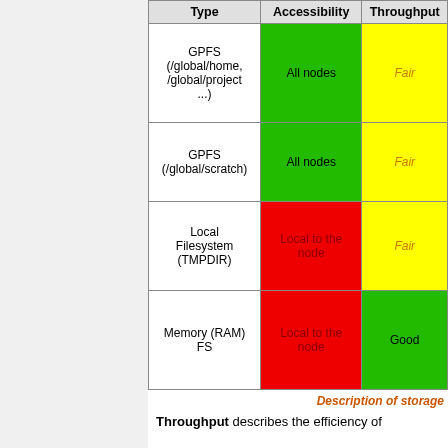| Type | Accessibility | Throughput |
| --- | --- | --- |
| GPFS (/global/home, /global/project ...) | All nodes | Fair |
| GPFS (/global/scratch) | All nodes | Fair |
| Local Filesystem (TMPDIR) | Local to the node | Fair |
| Memory (RAM) FS | Local to the node | Good |
Description of storage
Throughput describes the efficiency of